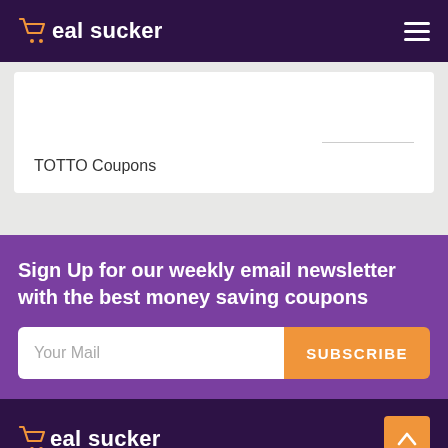deal sucker
TOTTO Coupons
Sign Up for our weekly email newsletter with the best money saving coupons
deal sucker